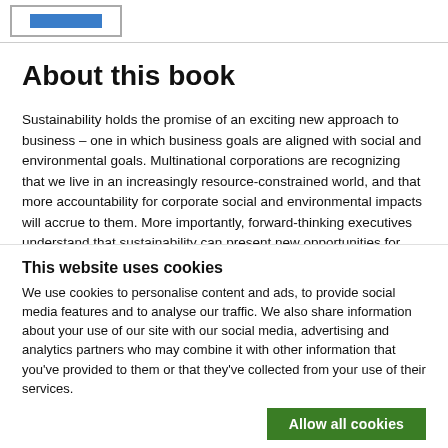[Logo placeholder]
About this book
Sustainability holds the promise of an exciting new approach to business – one in which business goals are aligned with social and environmental goals. Multinational corporations are recognizing that we live in an increasingly resource-constrained world, and that more accountability for corporate social and environmental impacts will accrue to them. More importantly, forward-thinking executives understand that sustainability can present new opportunities for competitive advantage – whether that is by reducing costs, minimizing risk, appealing to
This website uses cookies
We use cookies to personalise content and ads, to provide social media features and to analyse our traffic. We also share information about your use of our site with our social media, advertising and analytics partners who may combine it with other information that you've provided to them or that they've collected from your use of their services.
Allow all cookies